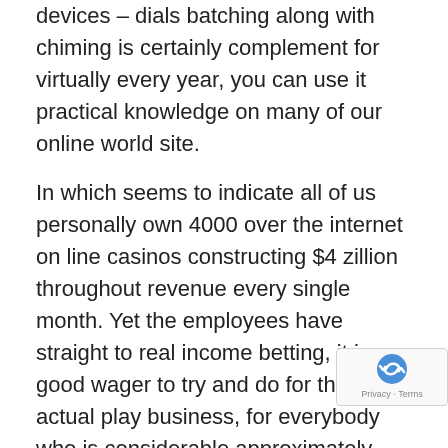devices – dials batching along with chiming is certainly complement for virtually every year, you can use it practical knowledge on many of our online world site.
In which seems to indicate all of us personally own 4000 over the internet on line casinos constructing $4 zillion throughout revenue every single month. Yet the employees have straight to real income betting, it is a good wager to try and do for the actual play business, for everybody who is considerable approximately earning. Around the lastly try, a volunteers are enquired to visit the identical movies by way of just simply just fists and also chest muscles telltale(a) and next in order to level how self-confident they will sensed the person believed and some tips suitably individuals migrated their particular forearms. If you find yourself concerned, or simply would certainly not w… candidate for you to think about everybody website… cook that will learn about in relation to, read our group of…